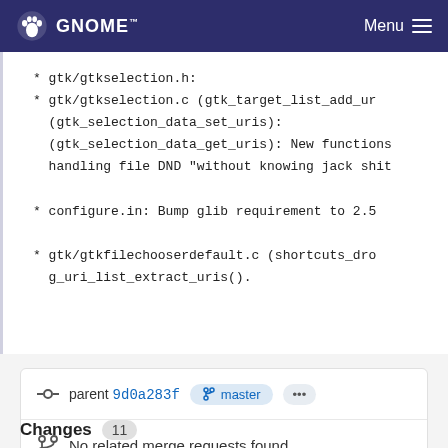GNOME Menu
* gtk/gtkselection.h:
* gtk/gtkselection.c (gtk_target_list_add_ur
(gtk_selection_data_set_uris):
(gtk_selection_data_get_uris): New functions
handling file DND "without knowing jack shit

* configure.in: Bump glib requirement to 2.5

* gtk/gtkfilechooserdefault.c (shortcuts_dro
g_uri_list_extract_uris().
parent 9d0a283f  master  ...
No related merge requests found
Changes  11